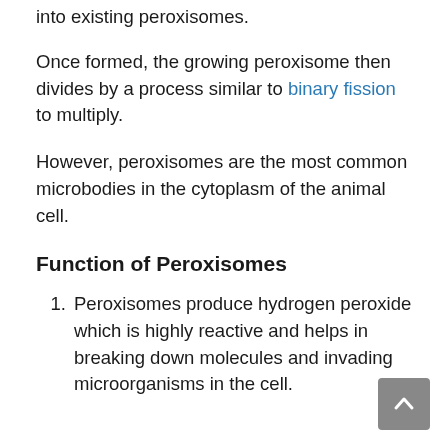into existing peroxisomes.
Once formed, the growing peroxisome then divides by a process similar to binary fission to multiply.
However, peroxisomes are the most common microbodies in the cytoplasm of the animal cell.
Function of Peroxisomes
Peroxisomes produce hydrogen peroxide which is highly reactive and helps in breaking down molecules and invading microorganisms in the cell.